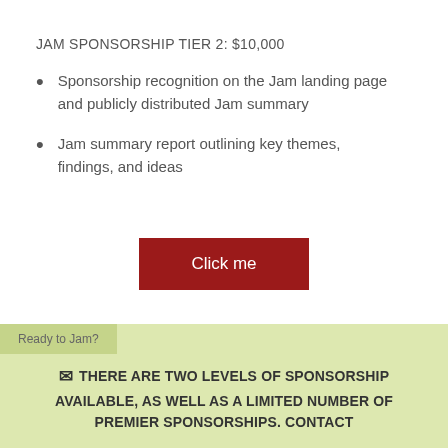JAM SPONSORSHIP TIER 2: $10,000
Sponsorship recognition on the Jam landing page and publicly distributed Jam summary
Jam summary report outlining key themes, findings, and ideas
[Figure (other): Red 'Click me' button]
Ready to Jam?
THERE ARE TWO LEVELS OF SPONSORSHIP AVAILABLE, AS WELL AS A LIMITED NUMBER OF PREMIER SPONSORSHIPS. CONTACT